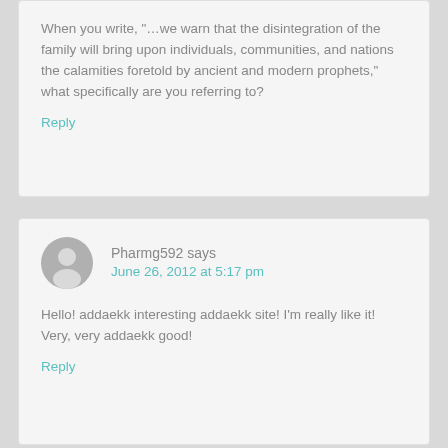When you write, “…we warn that the disintegration of the family will bring upon individuals, communities, and nations the calamities foretold by ancient and modern prophets,” what specifically are you referring to?
Reply
Pharmg592 says
June 26, 2012 at 5:17 pm
Hello! addaekk interesting addaekk site! I’m really like it! Very, very addaekk good!
Reply